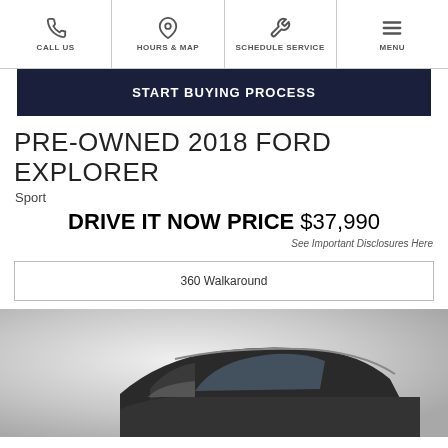CALL US | HOURS & MAP | SCHEDULE SERVICE | MENU
START BUYING PROCESS
PRE-OWNED 2018 FORD EXPLORER
Sport
DRIVE IT NOW PRICE $37,990
See Important Disclosures Here
360 Walkaround
[Figure (photo): Photo of a pre-owned 2018 Ford Explorer Sport, showing the top portion of the vehicle against a grey gradient background]